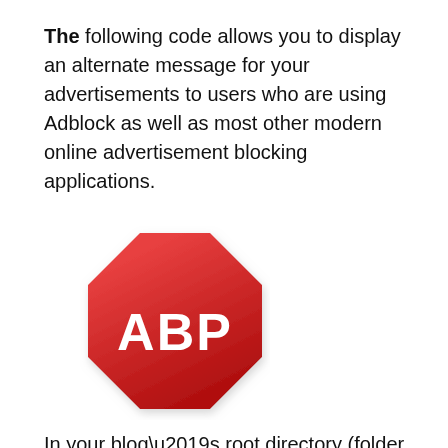The following code allows you to display an alternate message for your advertisements to users who are using Adblock as well as most other modern online advertisement blocking applications.
[Figure (logo): ABP (Adblock Plus) logo — red octagon stop-sign shape with white text 'ABP' in the center]
In your blog’s root directory (folder containing the wp-addon, wp-content and wp-includes sub folders), create a file and name it “adframe.js”.
This name is crucial because most ad blockers will prevent files with this name from being accessed